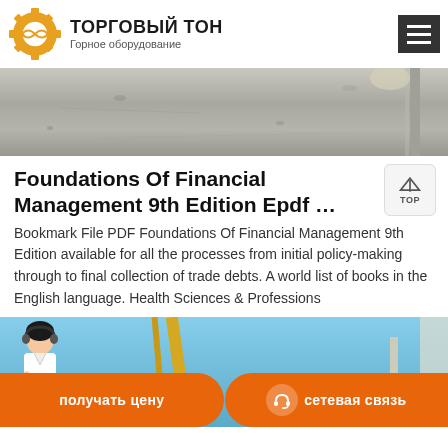ТОРГОВЫЙ ТОН — Горное оборудование
[Figure (photo): Concrete/stone surface with a pole on the right side]
Foundations Of Financial Management 9th Edition Epdf …
Bookmark File PDF Foundations Of Financial Management 9th Edition available for all the processes from initial policy-making through to final collection of trade debts. A world list of books in the English language. Health Sciences & Professions
[Figure (photo): Industrial machinery against blue sky background with orange CTA bar showing получать цену and сетевая связь buttons]
получать цену | сетевая связь